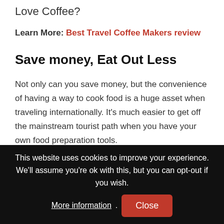Love Coffee?
Learn More: Best Travel Coffee Makers review
Save money, Eat Out Less
Not only can you save money, but the convenience of having a way to cook food is a huge asset when traveling internationally. It’s much easier to get off the mainstream tourist path when you have your own food preparation tools.
This website uses cookies to improve your experience. We’ll assume you’re ok with this, but you can opt-out if you wish. More information. Close